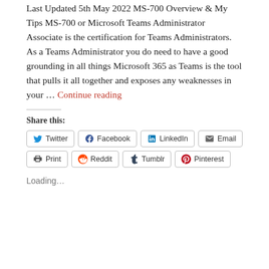Last Updated 5th May 2022 MS-700 Overview & My Tips MS-700 or Microsoft Teams Administrator Associate is the certification for Teams Administrators.  As a Teams Administrator you do need to have a good grounding in all things Microsoft 365 as Teams is the tool that pulls it all together and exposes any weaknesses in your … Continue reading
Share this:
Twitter Facebook LinkedIn Email Print Reddit Tumblr Pinterest
Loading...